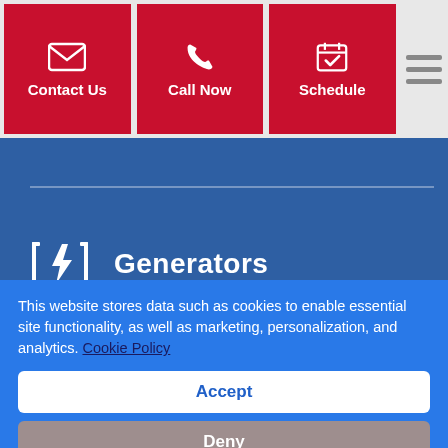[Figure (screenshot): Navigation bar with three red buttons: Contact Us (envelope icon), Call Now (phone icon), Schedule (calendar icon), and a hamburger menu icon on the right]
[Figure (screenshot): Blue section with a horizontal divider and a Generators menu item with a lightning bolt icon]
This website stores data such as cookies to enable essential site functionality, as well as marketing, personalization, and analytics. Cookie Policy
Accept
Deny